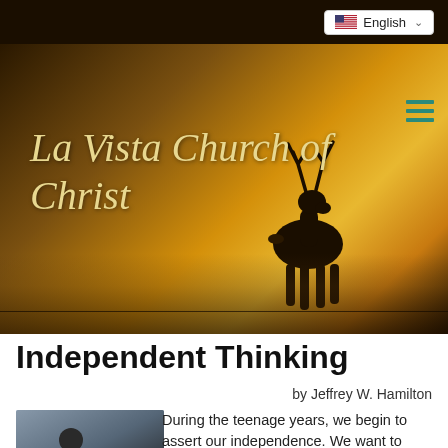English
[Figure (photo): La Vista Church of Christ website header banner showing a deer silhouette standing in a golden misty forest landscape with warm amber and gold tones. Text 'La Vista Church of Christ' in italic script overlaid on the left side.]
Independent Thinking
by Jeffrey W. Hamilton
[Figure (photo): Small thumbnail photo showing a person, used as article illustration.]
During the teenage years, we begin to assert our independence. We want to